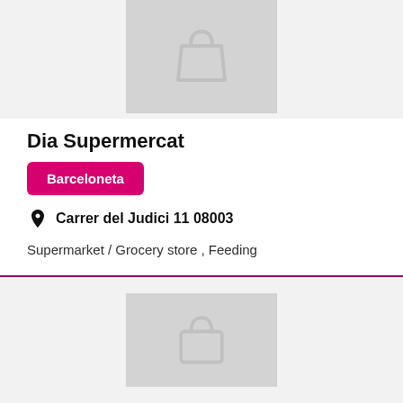[Figure (illustration): Gray placeholder image with a shopping bag icon (trapezoid style) centered on a light gray background]
Dia Supermercat
Barceloneta
Carrer del Judici 11 08003
Supermarket / Grocery store , Feeding
[Figure (illustration): Gray placeholder image with a shopping bag icon (rounded handle style) centered on a light gray background]